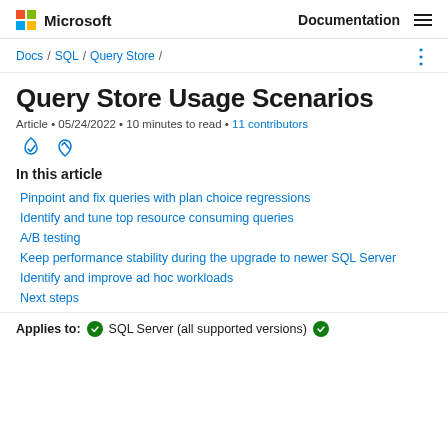Microsoft Documentation
Docs / SQL / Query Store /
Query Store Usage Scenarios
Article • 05/24/2022 • 10 minutes to read • 11 contributors
In this article
Pinpoint and fix queries with plan choice regressions
Identify and tune top resource consuming queries
A/B testing
Keep performance stability during the upgrade to newer SQL Server
Identify and improve ad hoc workloads
Next steps
Applies to: ✅ SQL Server (all supported versions) ✅